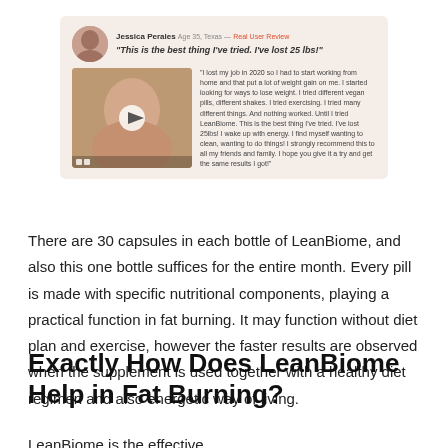[Figure (screenshot): Testimonial card with user photo/video thumbnail and review text. User Jessica Perales, Age 35, Texas — Real User Review. Quote: 'This is the best thing I've tried. I've lost 25 lbs!' Full review text about losing job in 2020, working from home, weight gain, trying various methods, finding LeanBiome.]
There are 30 capsules in each bottle of LeanBiome, and also this one bottle suffices for the entire month. Every pill is made with specific nutritional components, playing a practical function in fat burning. It may function without diet plan and exercise, however the faster results are observed when the supplement is used together with a healthy diet regimen and also energetic way of living.
Exactly How Does LeanBiome Help in Fat Burning?
LeanBiome is the effective...